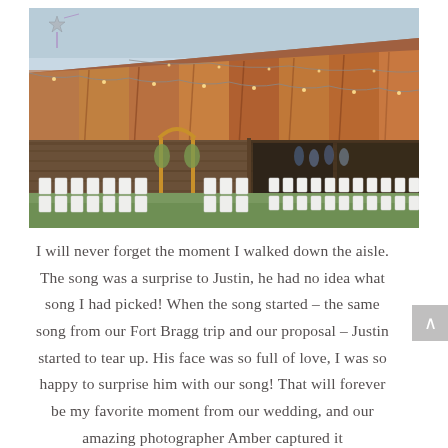[Figure (photo): Outdoor barn wedding venue with rustic corrugated metal roof with rust stains, string lights draped along the roof edge, wooden barn structure, rows of white folding chairs set up on green grass for a ceremony, a wooden arch at the front, and people visible near the barn entrance.]
I will never forget the moment I walked down the aisle. The song was a surprise to Justin, he had no idea what song I had picked! When the song started – the same song from our Fort Bragg trip and our proposal – Justin started to tear up. His face was so full of love, I was so happy to surprise him with our song! That will forever be my favorite moment from our wedding, and our amazing photographer Amber captured it